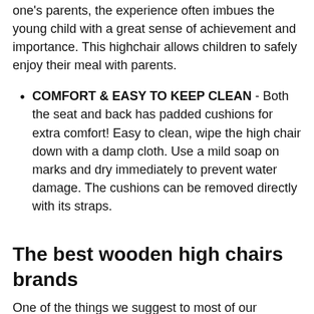one's parents, the experience often imbues the young child with a great sense of achievement and importance. This highchair allows children to safely enjoy their meal with parents.
COMFORT & EASY TO KEEP CLEAN - Both the seat and back has padded cushions for extra comfort! Easy to clean, wipe the high chair down with a damp cloth. Use a mild soap on marks and dry immediately to prevent water damage. The cushions can be removed directly with its straps.
The best wooden high chairs brands
One of the things we suggest to most of our readers is to buy the wooden high chairs from a well-known brand. Good brands provide, good quality products, great customer support, and have service centers in different places around the country. Regarding the wooden high chairs I have a